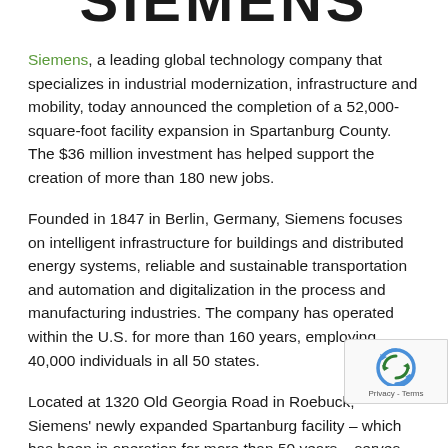[Figure (logo): Siemens logo in large bold letters, partially cropped at top]
Siemens, a leading global technology company that specializes in industrial modernization, infrastructure and mobility, today announced the completion of a 52,000-square-foot facility expansion in Spartanburg County. The $36 million investment has helped support the creation of more than 180 new jobs.
Founded in 1847 in Berlin, Germany, Siemens focuses on intelligent infrastructure for buildings and distributed energy systems, reliable and sustainable transportation and automation and digitalization in the process and manufacturing industries. The company has operated within the U.S. for more than 160 years, employing 40,000 individuals in all 50 states.
Located at 1320 Old Georgia Road in Roebuck, Siemens' newly expanded Spartanburg facility – which has been in operation for more than 50 years – serves as one of the company's key energy infrastructure manufacturing hubs for the U.S. Additionally, to further develop talent, the company partners with area colleges and universities to develop curriculum and provide hands-on learning support to advance the manufacturing workforce of today and of